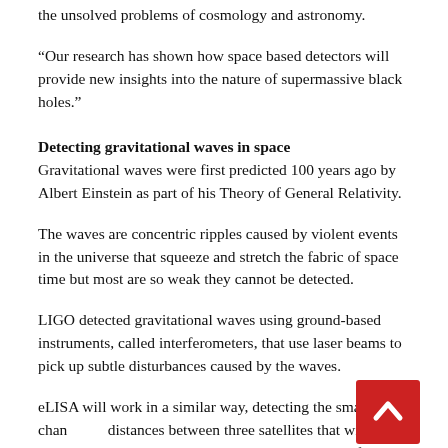the unsolved problems of cosmology and astronomy.
“Our research has shown how space based detectors will provide new insights into the nature of supermassive black holes.”
Detecting gravitational waves in space
Gravitational waves were first predicted 100 years ago by Albert Einstein as part of his Theory of General Relativity.
The waves are concentric ripples caused by violent events in the universe that squeeze and stretch the fabric of space time but most are so weak they cannot be detected.
LIGO detected gravitational waves using ground-based instruments, called interferometers, that use laser beams to pick up subtle disturbances caused by the waves.
eLISA will work in a similar way, detecting the small changes in distances between three satellites that will orbit the Sun in a triangular pattern connected by beams from lasers in each